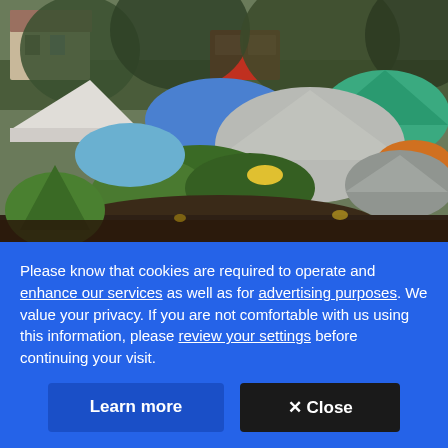[Figure (photo): Outdoor photograph of a homeless encampment or tent city. Multiple colorful tents (teal, blue, grey, orange, white) are clustered together in a wooded area. There are trees in the background, a red structure/building visible in the mid-distance, a white canopy tent on the left, and green plants/shrubs in the foreground. The scene appears to be on a cloudy/overcast day.]
Please know that cookies are required to operate and enhance our services as well as for advertising purposes. We value your privacy. If you are not comfortable with us using this information, please review your settings before continuing your visit.